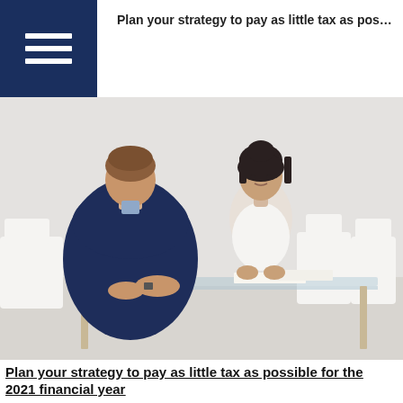Plan your strategy to pay as little tax as possible for the 2021 financial year
[Figure (photo): Two people sitting at a glass desk in a bright white room. A man in a navy sweater sits with his back to the camera, and a woman in a white blouse sits across from him. Papers are on the desk between them, suggesting a financial consultation.]
Plan your strategy to pay as little tax as possible for the 2021 financial year